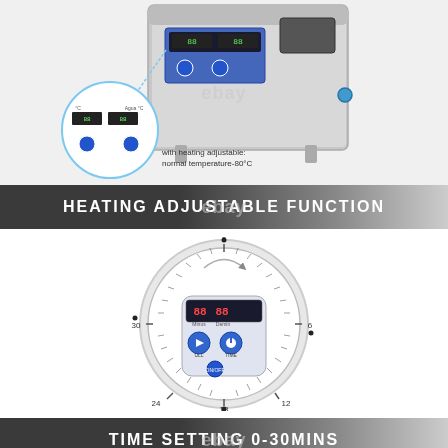[Figure (photo): Ultrasonic cleaner device (stainless steel box) with digital control panel showing temperature display and blue buttons, and a callout circle showing the control panel detail with text 'with heating adjustable: normal temperature-80°C']
HEATING ADJUSTABLE FUNCTION
[Figure (engineering-diagram): Circular analog-style dial with minute markers at 0, 6, 12, 18, 24, 30 positions, containing a digital display panel with 'Minus' and 'Demin' labels, two blue control buttons labeled ULL and TIME, and an ON/OFF power button at the bottom center]
TIME SETTING 0-30MINS